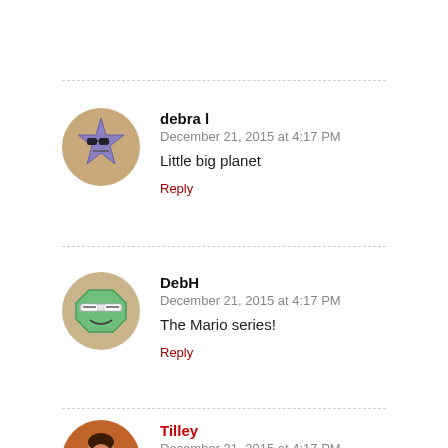Reply
[Figure (illustration): Avatar of debra l — circular avatar with a purple star character wearing sunglasses on a tan background]
debra l
December 21, 2015 at 4:17 PM
Little big planet
Reply
[Figure (illustration): Avatar of DebH — circular avatar with a green octagon-shaped smiling face character wearing glasses on a tan/beige background]
DebH
December 21, 2015 at 4:17 PM
The Mario series!
Reply
[Figure (photo): Circular avatar photo of Tilley — a person smiling, wearing glasses and a blue outfit with a necklace]
Tilley
December 21, 2015 at 4:17 PM
The one I miss playing the most is